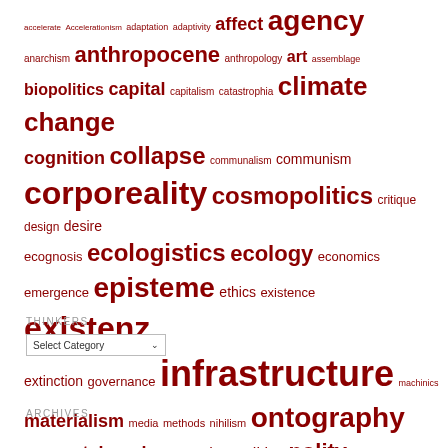[Figure (other): Word cloud with philosophical and academic terms in varying sizes, all in dark red color. Larger words appear more frequently or prominently. Terms include: accelerate, Accelerationism, adaptation, adaptivity, affect, agency, anarchism, anthropocene, anthropology, art, assemblage, biopolitics, capital, capitalism, catastrophia, climate change, cognition, collapse, communalism, communism, corporeality, cosmopolitics, critique, design, desire, ecognosis, ecologistics, ecology, economics, emergence, episteme, ethics, existence, existenz, extinction, governance, infrastructure, machinics, materialism, media, methods, nihilism, ontography, ontopunk, patchwork, perception, politics, polity, postnihil, postnihilism, praxis, psychiatry, resistance, sapience, sentience, speculation, techne, technics, theoria, theory]
THINKERS
Select Category
ARCHIVES